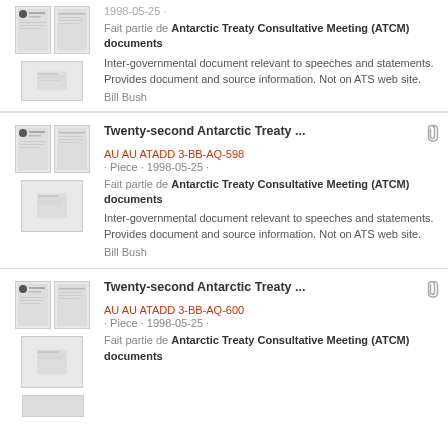1998-05-25 · Fait partie de Antarctic Treaty Consultative Meeting (ATCM) documents Inter-governmental document relevant to speeches and statements. Provides document and source information. Not on ATS web site. Bill Bush
Twenty-second Antarctic Treaty ... AU AU ATADD 3-BB-AQ-598 · Piece · 1998-05-25 · Fait partie de Antarctic Treaty Consultative Meeting (ATCM) documents Inter-governmental document relevant to speeches and statements. Provides document and source information. Not on ATS web site. Bill Bush
Twenty-second Antarctic Treaty ... AU AU ATADD 3-BB-AQ-600 · Piece · 1998-05-25 · Fait partie de Antarctic Treaty Consultative Meeting (ATCM) documents